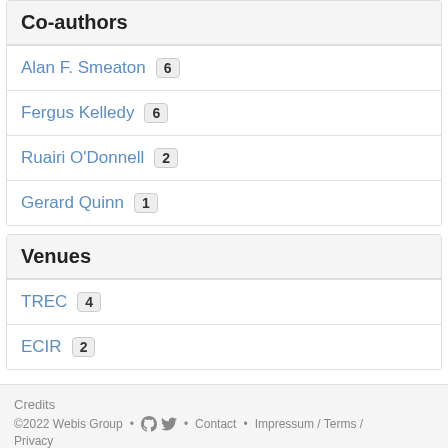Co-authors
Alan F. Smeaton 6
Fergus Kelledy 6
Ruairi O'Donnell 2
Gerard Quinn 1
Venues
TREC 4
ECIR 2
Credits
©2022 Webis Group • Contact • Impressum / Terms / Privacy